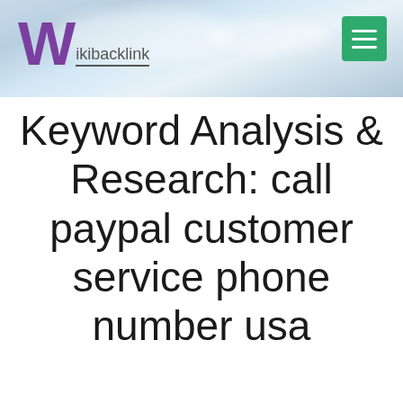[Figure (screenshot): Website header with Wikibacklink logo (purple W with 'ikibacklink' text underlined) on a sky/cloud background, and a green hamburger menu button in the top right corner]
Keyword Analysis & Research: call paypal customer service phone number usa